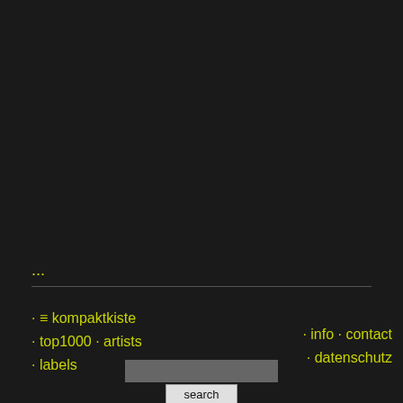...
· ≡ kompaktkiste
· top1000 · artists
· labels
· info · contact
· datenschutz